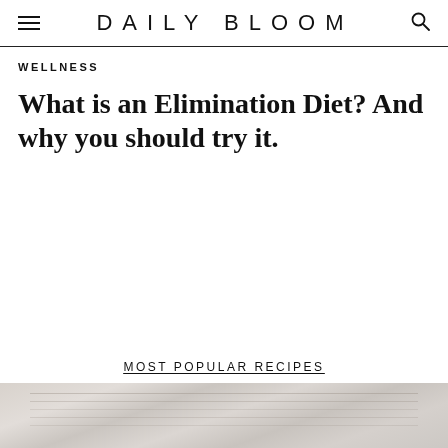DAILY BLOOM
WELLNESS
What is an Elimination Diet? And why you should try it.
MOST POPULAR RECIPES
[Figure (photo): A light-toned food photograph, likely showing a marble or white surface with some food styling elements, cropped at the bottom of the page.]